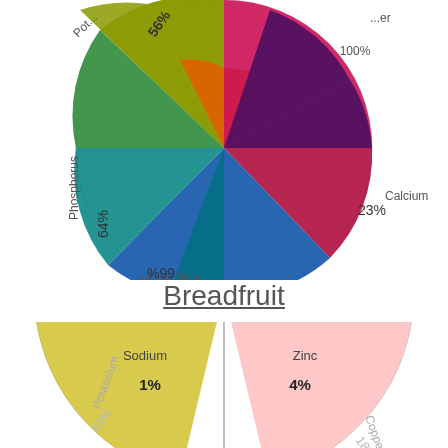[Figure (pie-chart): Top chart (partial, cut off at top)]
Breadfruit
[Figure (pie-chart): Breadfruit mineral chart (partial, bottom)]